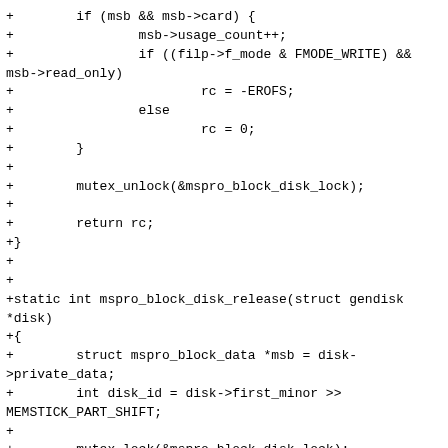+        if (msb && msb->card) {
+                msb->usage_count++;
+                if ((filp->f_mode & FMODE_WRITE) &&
msb->read_only)
+                        rc = -EROFS;
+                else
+                        rc = 0;
+        }
+
+        mutex_unlock(&mspro_block_disk_lock);
+
+        return rc;
+}
+
+
+static int mspro_block_disk_release(struct gendisk
*disk)
+{
+        struct mspro_block_data *msb = disk-
>private_data;
+        int disk_id = disk->first_minor >>
MEMSTICK_PART_SHIFT;
+
+        mutex_lock(&mspro_block_disk_lock);
+
+        if (msb->usage_count) {
+                msb->usage_count--;
+                if (!msb->usage_count) {
+                        kfree(msb);
+                        disk->private_data = NULL;